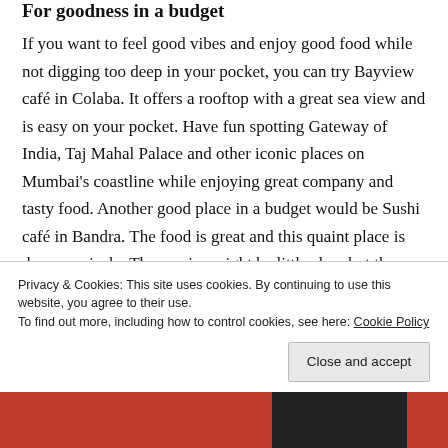For goodness in a budget
If you want to feel good vibes and enjoy good food while not digging too deep in your pocket, you can try Bayview café in Colaba. It offers a rooftop with a great sea view and is easy on your pocket. Have fun spotting Gateway of India, Taj Mahal Palace and other iconic places on Mumbai's coastline while enjoying great company and tasty food. Another good place in a budget would be Sushi café in Bandra. The food is great and this quaint place is done up nicely. The service might be little slow but the food makes up for it. Also,
Advertisements
Privacy & Cookies: This site uses cookies. By continuing to use this website, you agree to their use.
To find out more, including how to control cookies, see here: Cookie Policy
Close and accept